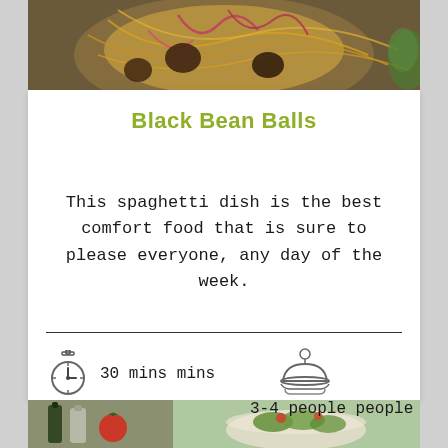[Figure (photo): Top portion of a plate of spaghetti dish with colorful toppings including red onions and sauce, aerial view]
Black Bean Balls
This spaghetti dish is the best comfort food that is sure to please everyone, any day of the week.
30 mins mins
3-4 people people
[Figure (photo): Bottom left: product bottles and a tomato on a wooden board. Bottom right: a bowl of green salad with tomatoes.]